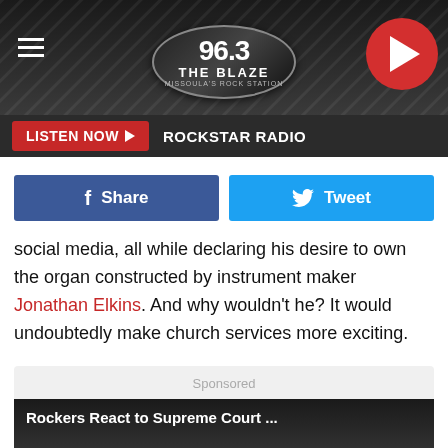[Figure (logo): 96.3 The Blaze radio station header with logo, hamburger menu, and play button]
LISTEN NOW ▶  ROCKSTAR RADIO
[Figure (other): Facebook Share button and Twitter Tweet button row]
social media, all while declaring his desire to own the organ constructed by instrument maker Jonathan Elkins. And why wouldn't he? It would undoubtedly make church services more exciting.
[Figure (screenshot): Sponsored video thumbnail: Rockers React to Supreme Court ... with play button overlay]